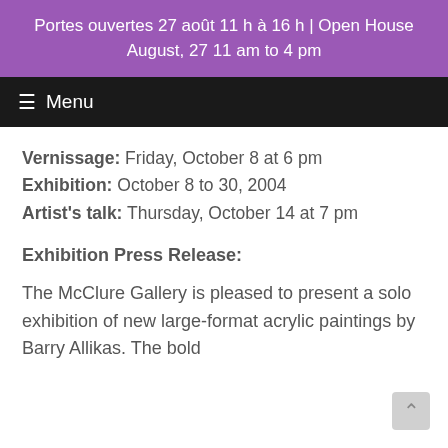Portes ouvertes 27 août 11 h à 16 h | Open House August, 27 11 am to 4 pm
☰ Menu
Vernissage: Friday, October 8 at 6 pm
Exhibition: October 8 to 30, 2004
Artist's talk: Thursday, October 14 at 7 pm
Exhibition Press Release:
The McClure Gallery is pleased to present a solo exhibition of new large-format acrylic paintings by Barry Allikas. The bold